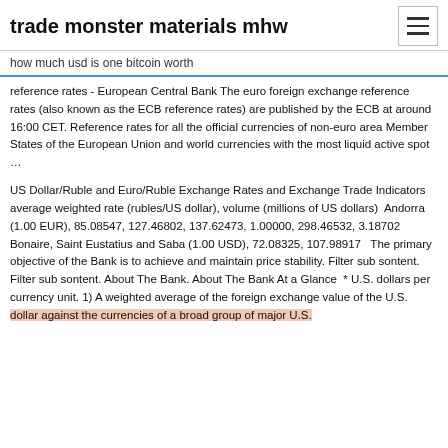trade monster materials mhw
how much usd is one bitcoin worth
reference rates - European Central Bank The euro foreign exchange reference rates (also known as the ECB reference rates) are published by the ECB at around 16:00 CET. Reference rates for all the official currencies of non-euro area Member States of the European Union and world currencies with the most liquid active spot …
US Dollar/Ruble and Euro/Ruble Exchange Rates and Exchange Trade Indicators average weighted rate (rubles/US dollar), volume (millions of US dollars)  Andorra (1.00 EUR), 85.08547, 127.46802, 137.62473, 1.00000, 298.46532, 3.18702 Bonaire, Saint Eustatius and Saba (1.00 USD), 72.08325, 107.98917   The primary objective of the Bank is to achieve and maintain price stability. Filter sub sontent. Filter sub sontent. About The Bank. About The Bank At a Glance  * U.S. dollars per currency unit. 1) A weighted average of the foreign exchange value of the U.S. dollar against the currencies of a broad group of major U.S.